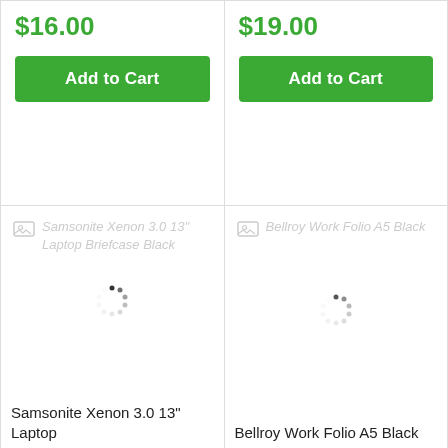$16.00
Add to Cart
$19.00
Add to Cart
[Figure (screenshot): Product card with loading spinner and placeholder image text: Samsonite Xenon 3.0 13" Laptop Briefcase Black]
Samsonite Xenon 3.0 13" Laptop
[Figure (screenshot): Product card with loading spinner and placeholder image text: Bellroy Work Folio A5 Black]
Bellroy Work Folio A5 Black